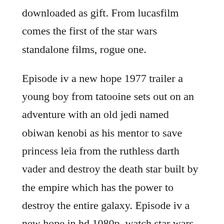downloaded as gift. From lucasfilm comes the first of the star wars standalone films, rogue one.

Episode iv a new hope 1977 trailer a young boy from tatooine sets out on an adventure with an old jedi named obiwan kenobi as his mentor to save princess leia from the ruthless darth vader and destroy the death star built by the empire which has the power to destroy the entire galaxy. Episode iv a new hope in hd 1080p, watch star wars. Star wars the old republic game free is biowares entry that is